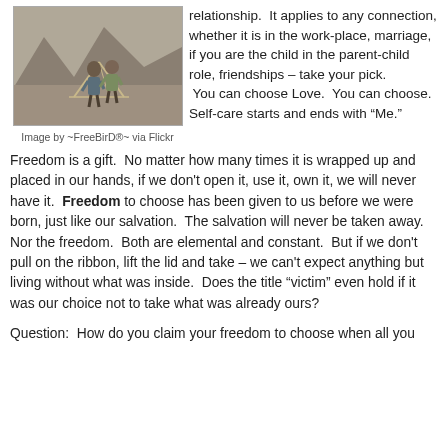[Figure (photo): Two children standing outdoors in a mountainous, arid landscape near a makeshift tent structure.]
Image by ~FreeBirD®~ via Flickr
relationship.  It applies to any connection, whether it is in the work-place, marriage, if you are the child in the parent-child role, friendships – take your pick.  You can choose Love.  You can choose.  Self-care starts and ends with “Me.”
Freedom is a gift.  No matter how many times it is wrapped up and placed in our hands, if we don't open it, use it, own it, we will never have it.  Freedom to choose has been given to us before we were born, just like our salvation.  The salvation will never be taken away.  Nor the freedom.  Both are elemental and constant.  But if we don't pull on the ribbon, lift the lid and take – we can't expect anything but living without what was inside.  Does the title “victim” even hold if it was our choice not to take what was already ours?
Question:  How do you claim your freedom to choose when all you